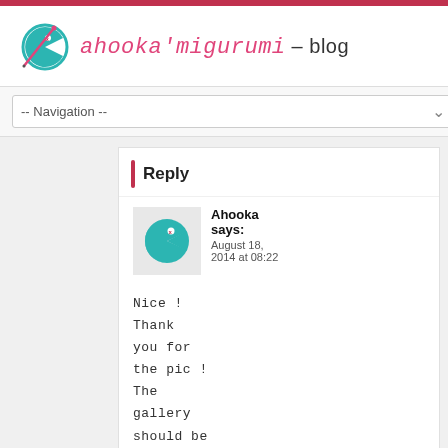ahooka'migurumi – blog
-- Navigation --
Reply
[Figure (logo): Ahooka avatar: teal pac-man style character with red x eye]
Ahooka says: August 18, 2014 at 08:22
Nice ! Thank you for the pic ! The gallery should be up soon :)